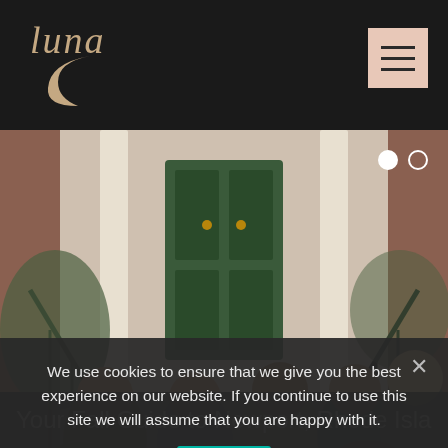[Figure (logo): Luna brand logo with cursive text and crescent moon icon on dark background]
[Figure (photo): Group photo of eight young women posed on outdoor steps in front of a building with columns and a green door. They are dressed in casual fall clothing.]
We use cookies to ensure that we give you the best experience on our website. If you continue to use this site we will assume that you are happy with it.
Ok
Your Fall Guide to Newport, Rhode Island